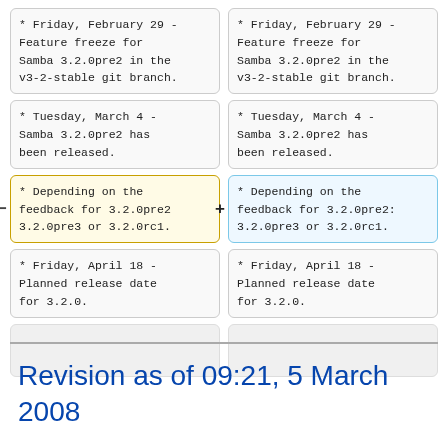[Figure (screenshot): A diff/comparison view showing two columns of code blocks. Left column has removed (yellow border) block, right column has added (blue border) block. Content shows Samba release schedule items in monospace font.]
Revision as of 09:21, 5 March 2008